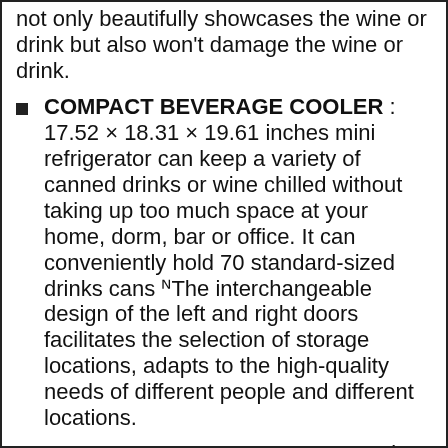not only beautifully showcases the wine or drink but also won't damage the wine or drink.
COMPACT BEVERAGE COOLER : 17.52 × 18.31 × 19.61 inches mini refrigerator can keep a variety of canned drinks or wine chilled without taking up too much space at your home, dorm, bar or office. It can conveniently hold 70 standard-sized drinks cans ᴺThe interchangeable design of the left and right doors facilitates the selection of storage locations, adapts to the high-quality needs of different people and different locations.
POWER COOLING EFFECT: Heat is enemy number one for wine and drink. The mini refrigerator enables you to store your wine and drink in optimal conditions for long-term aging. Working temperature range is 40°F-61°F and allows you to customize the temp